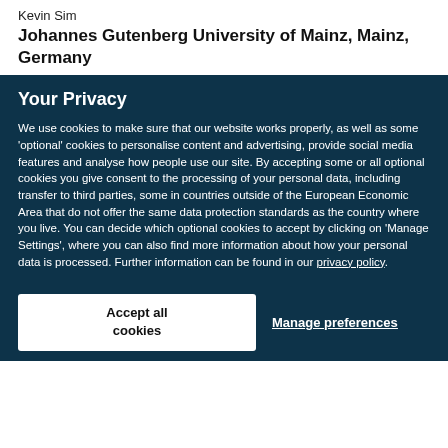Kevin Sim
Johannes Gutenberg University of Mainz, Mainz, Germany
Your Privacy
We use cookies to make sure that our website works properly, as well as some 'optional' cookies to personalise content and advertising, provide social media features and analyse how people use our site. By accepting some or all optional cookies you give consent to the processing of your personal data, including transfer to third parties, some in countries outside of the European Economic Area that do not offer the same data protection standards as the country where you live. You can decide which optional cookies to accept by clicking on 'Manage Settings', where you can also find more information about how your personal data is processed. Further information can be found in our privacy policy.
Accept all cookies
Manage preferences